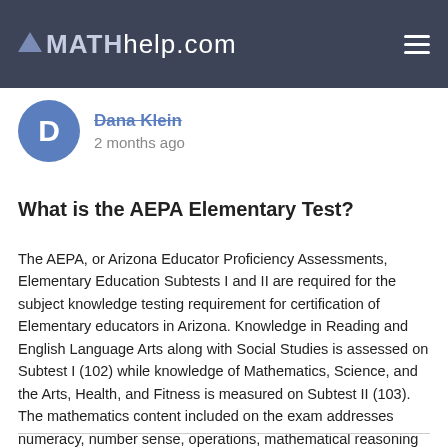MATHhelp.com
Dana Klein
2 months ago
What is the AEPA Elementary Test?
The AEPA, or Arizona Educator Proficiency Assessments, Elementary Education Subtests I and II are required for the subject knowledge testing requirement for certification of Elementary educators in Arizona. Knowledge in Reading and English Language Arts along with Social Studies is assessed on Subtest I (102) while knowledge of Mathematics, Science, and the Arts, Health, and Fitness is measured on Subtest II (103). The mathematics content included on the exam addresses numeracy, number sense, operations, mathematical reasoning and problem solving, data analysis, patterns, algebra, functions, geometry, and measurement.